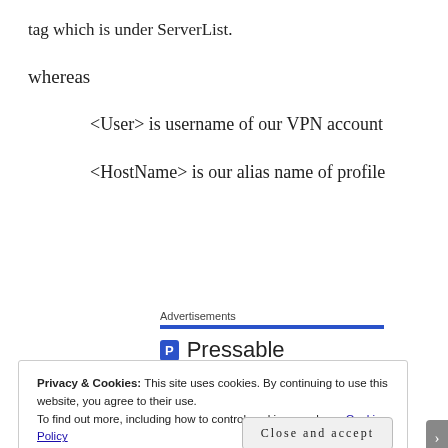tag which is under ServerList.
whereas
<User> is username of our VPN account
<HostName> is our alias name of profile
Advertisements
[Figure (logo): Pressable logo with blue square icon and Pressable text, followed by dots]
Privacy & Cookies: This site uses cookies. By continuing to use this website, you agree to their use.
To find out more, including how to control cookies, see here: Cookie Policy
Close and accept